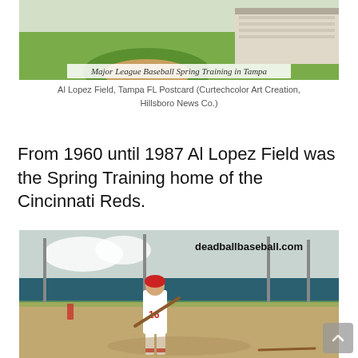[Figure (photo): Aerial/wide view of Major League Baseball Spring Training in Tampa at Al Lopez Field, showing the baseball diamond and grandstands.]
Al Lopez Field, Tampa FL Postcard (Curtechcolor Art Creation, Hillsboro News Co.)
From 1960 until 1987 Al Lopez Field was the Spring Training home of the Cincinnati Reds.
[Figure (photo): Player wearing Cincinnati Reds uniform number 16 holding a bat on a baseball field at Al Lopez Field. The watermark reads deadballbaseball.com.]